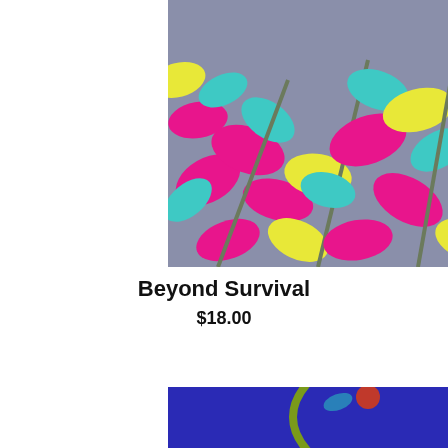[Figure (photo): Colorful abstract leaf pattern on a blue-grey background with pink, yellow, and teal leaves — top portion of a book cover for 'Beyond Survival']
Beyond Survival
$18.00
[Figure (photo): Book cover for 'Journal of Radical Permission: A Daily Guide for Following Your Soul's Calling' — deep blue background with decorative floral and bird motifs in green, red, and blue]